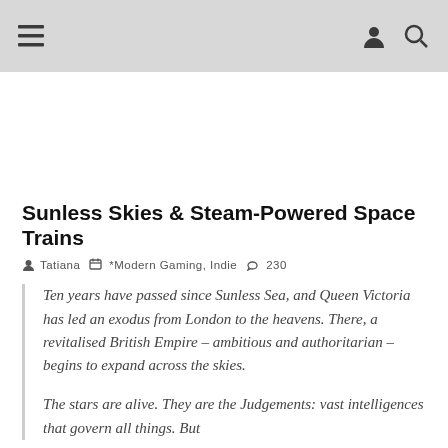≡ [user icon] [search icon]
Sunless Skies & Steam-Powered Space Trains
Tatiana   *Modern Gaming, Indie   230
Ten years have passed since Sunless Sea, and Queen Victoria has led an exodus from London to the heavens. There, a revitalised British Empire – ambitious and authoritarian – begins to expand across the skies.

The stars are alive. They are the Judgements: vast intelligences that govern all things. But